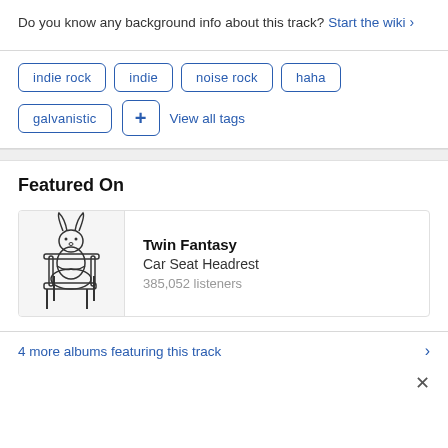Do you know any background info about this track? Start the wiki >
indie rock
indie
noise rock
haha
galvanistic
+ View all tags
Featured On
[Figure (illustration): Album art for Twin Fantasy by Car Seat Headrest showing a line drawing of a rabbit-like creature sitting in a chair]
Twin Fantasy
Car Seat Headrest
385,052 listeners
4 more albums featuring this track >